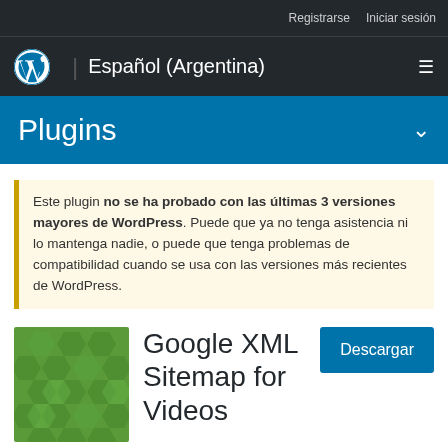Registrarse   Iniciar sesión
Español (Argentina)
Plugins
Este plugin no se ha probado con las últimas 3 versiones mayores de WordPress. Puede que ya no tenga asistencia ni lo mantenga nadie, o puede que tenga problemas de compatibilidad cuando se usa con las versiones más recientes de WordPress.
[Figure (illustration): Green hexagonal pattern plugin icon for Google XML Sitemap for Videos]
Google XML Sitemap for Videos
Descargar
Por Amit Agarwal